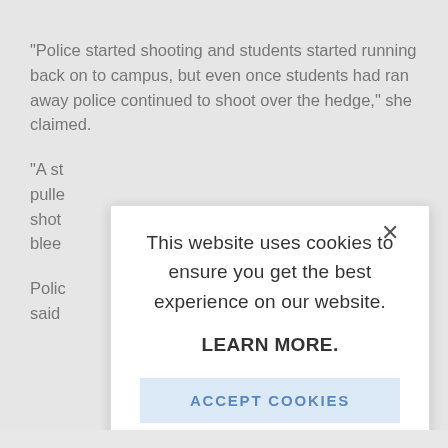“Police started shooting and students started running back on to campus, but even once students had ran away police continued to shoot over the hedge,” she claimed.
“A st... pulle... shot... blee...
Polic... said...
[Figure (screenshot): Cookie consent modal dialog overlaying article content. Modal contains close X button, text 'This website uses cookies to ensure you get the best experience on our website.', bold link 'LEARN MORE.', and a light blue 'ACCEPT COOKIES' button.]